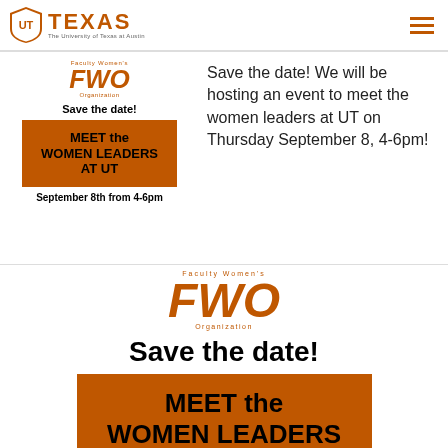TEXAS The University of Texas at Austin
[Figure (logo): FWO Faculty Women's Organization small logo with orange letters]
Save the date!
[Figure (infographic): Orange box reading MEET the WOMEN LEADERS AT UT]
September 8th from 4-6pm
Save the date! We will be hosting an event to meet the women leaders at UT on Thursday September 8, 4-6pm!
[Figure (logo): FWO Faculty Women's Organization large logo with orange letters and circular text]
Save the date!
[Figure (infographic): Large orange box reading MEET the WOMEN LEADERS AT UT]